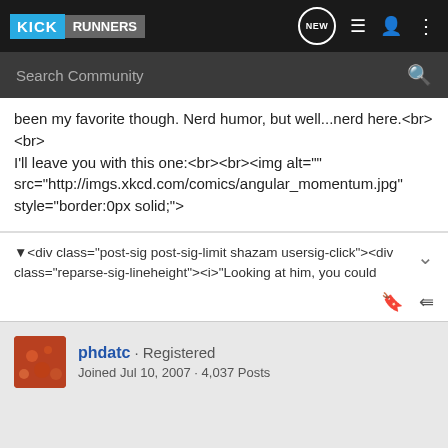KICK RUNNERS — navigation bar with search
been my favorite though. Nerd humor, but well...nerd here.<br><br>
I'll leave you with this one:<br><br><img alt="" src="http://imgs.xkcd.com/comics/angular_momentum.jpg" style="border:0px solid;">
▼<div class="post-sig post-sig-limit shazam usersig-click"><div class="reparse-sig-lineheight"><i>"Looking at him, you could
phdatc · Registered
Joined Jul 10, 2007 · 4,037 Posts